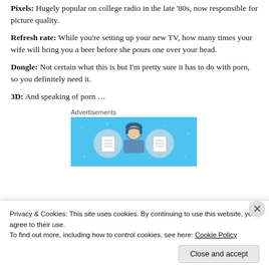Pixels: Hugely popular on college radio in the late '80s, now responsible for picture quality.
Refresh rate: While you're setting up your new TV, how many times your wife will bring you a beer before she pours one over your head.
Dongle: Not certain what this is but I'm pretty sure it has to do with porn, so you definitely need it.
3D: And speaking of porn …
Advertisements
[Figure (illustration): Advertisement banner with blue background showing a person with headphones flanked by two circular icons representing documents/notebooks.]
Privacy & Cookies: This site uses cookies. By continuing to use this website, you agree to their use.
To find out more, including how to control cookies, see here: Cookie Policy
Close and accept